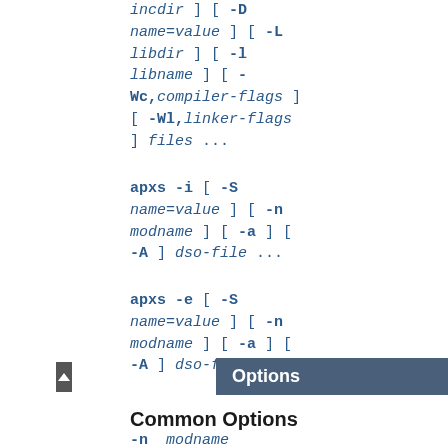incdir ] [ -D name=value ] [ -L libdir ] [ -l libname ] [ -Wc,compiler-flags ] [ -Wl,linker-flags ] files ...
apxs -i [ -S name=value ] [ -n modname ] [ -a ] [ -A ] dso-file ...
apxs -e [ -S name=value ] [ -n modname ] [ -a ] [ -A ] dso-file ...
Options
Common Options
-n modname
This explicitly sets